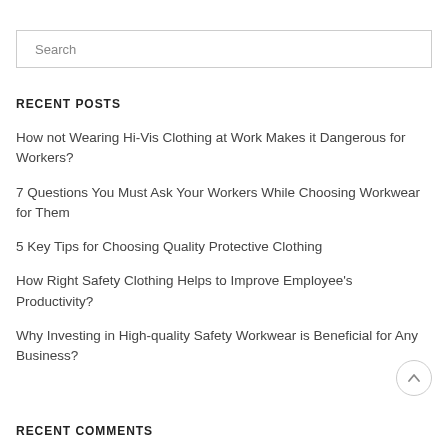Search
RECENT POSTS
How not Wearing Hi-Vis Clothing at Work Makes it Dangerous for Workers?
7 Questions You Must Ask Your Workers While Choosing Workwear for Them
5 Key Tips for Choosing Quality Protective Clothing
How Right Safety Clothing Helps to Improve Employee's Productivity?
Why Investing in High-quality Safety Workwear is Beneficial for Any Business?
RECENT COMMENTS